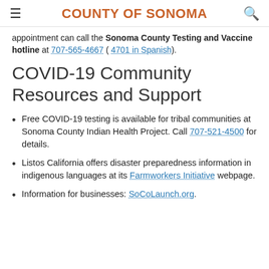COUNTY OF SONOMA
appointment can call the Sonoma County Testing and Vaccine hotline at 707-565-4667 ( 4701 in Spanish).
COVID-19 Community Resources and Support
Free COVID-19 testing is available for tribal communities at Sonoma County Indian Health Project. Call 707-521-4500 for details.
Listos California offers disaster preparedness information in indigenous languages at its Farmworkers Initiative webpage.
Information for businesses: SoCoLaunch.org.